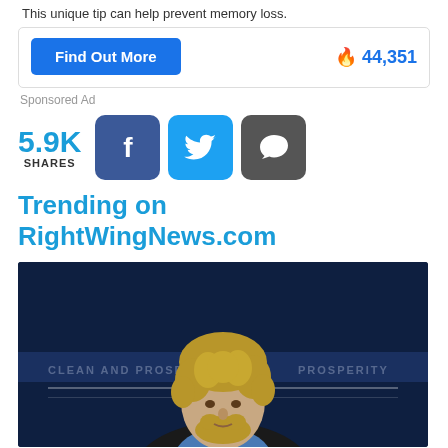This unique tip can help prevent memory loss.
Find Out More   🔥 44,351
Sponsored Ad
5.9K SHARES
Trending on RightWingNews.com
[Figure (photo): A man with curly blond hair and a beard wearing a dark suit jacket and blue shirt, photographed against a dark blue background with partial text visible]